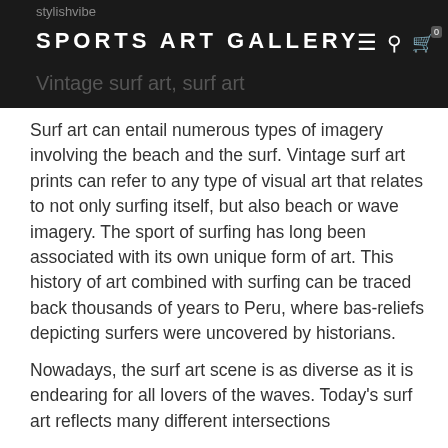stylishvibe
SPORTS ART GALLERY
Vintage surf art, surf art
Surf art can entail numerous types of imagery involving the beach and the surf. Vintage surf art prints can refer to any type of visual art that relates to not only surfing itself, but also beach or wave imagery. The sport of surfing has long been associated with its own unique form of art. This history of art combined with surfing can be traced back thousands of years to Peru, where bas-reliefs depicting surfers were uncovered by historians.
Nowadays, the surf art scene is as diverse as it is endearing for all lovers of the waves. Today's surf art reflects many different intersections